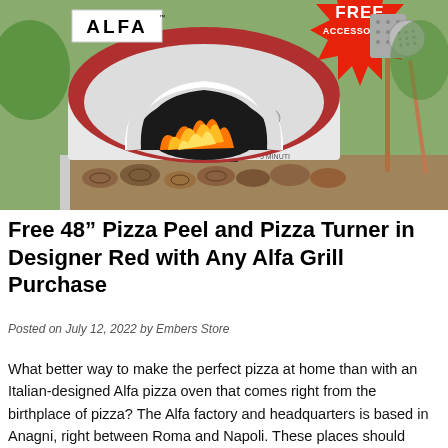[Figure (photo): Alfa pizza oven (red, dome-shaped) with open fire inside, wood stacked below, ALFA logo on front. Upper left has ALFA brand logo in white box. Upper right has a red starburst badge saying FREE ACCESSORIES! with two pizza peels (one large paddle, one turning peel) shown to the right of the oven.]
Free 48″ Pizza Peel and Pizza Turner in Designer Red with Any Alfa Grill Purchase
Posted on July 12, 2022 by Embers Store
What better way to make the perfect pizza at home than with an Italian-designed Alfa pizza oven that comes right from the birthplace of pizza? The Alfa factory and headquarters is based in Anagni, right between Roma and Napoli. These places should